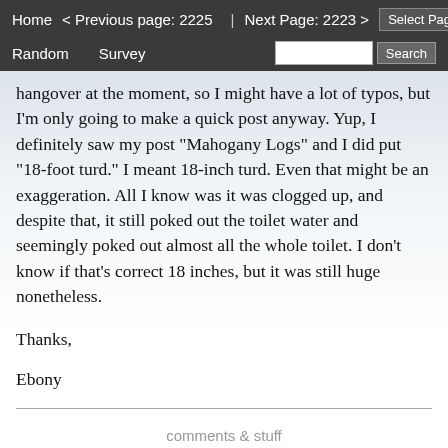Home   < Previous page: 2225  |  Next Page: 2223 >   Random   Survey   Select Page ▼  GO   Search
hangover at the moment, so I might have a lot of typos, but I'm only going to make a quick post anyway. Yup, I definitely saw my post "Mahogany Logs" and I did put "18-foot turd." I meant 18-inch turd. Even that might be an exaggeration. All I know was it was clogged up, and despite that, it still poked out the toilet water and seemingly poked out almost all the whole toilet. I don't know if that's correct 18 inches, but it was still huge nonetheless.
Thanks,
Ebony
Brandon T
comments & stuff